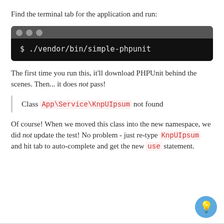Find the terminal tab for the application and run:
[Figure (screenshot): Terminal window with dark gray title bar showing three gray dots and black body containing the command: $ ./vendor/bin/simple-phpunit]
The first time you run this, it'll download PHPUnit behind the scenes. Then... it does not pass!
Class App\Service\KnpUIpsum not found
Of course! When we moved this class into the new namespace, we did not update the test! No problem - just re-type KnpUIpsum and hit tab to auto-complete and get the new use statement.